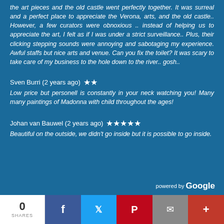the art pieces and the old castle went perfectly together. It was surreal and a perfect place to appreciate the Verona, arts, and the old castle.. However, a few curators were obnoxious .. instead of helping us to appreciate the art, I felt as if I was under a strict surveillance.. Plus, their clicking stepping sounds were annoying and sabotaging my experience. Awful staffs but nice arts and venue. Can you fix the toilet? It was scary to take care of my business to the hole down to the river.. gosh..
Sven Burri (2 years ago) ★★
Low price but personell is constantly in your neck watching you! Many many paintings of Madonna with child throughout the ages!
Johan van Bauwel (2 years ago) ★★★★★
Beautiful on the outside, we didn't go inside but it is possible to go inside.
powered by Google | 0 SHARES | Facebook | Twitter | Pinterest | Email | More